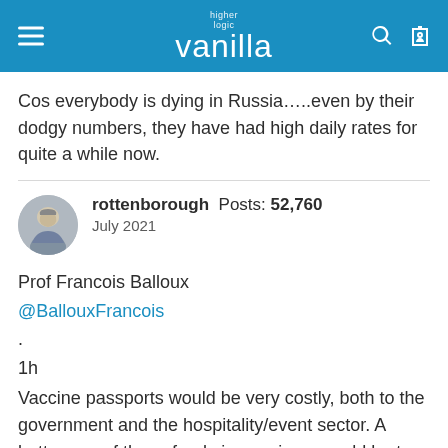higher logic vanilla
Cos everybody is dying in Russia…..even by their dodgy numbers, they have had high daily rates for quite a while now.
rottenborough  Posts: 52,760
July 2021
Prof Francois Balloux
@BallouxFrancois
.
1h
Vaccine passports would be very costly, both to the government and the hospitality/event sector. A better use of those funds in my views would be to distribute helicopter money (e.g. £1000 to everyone who's been vaccinated). It would increase vaccine uptake and help